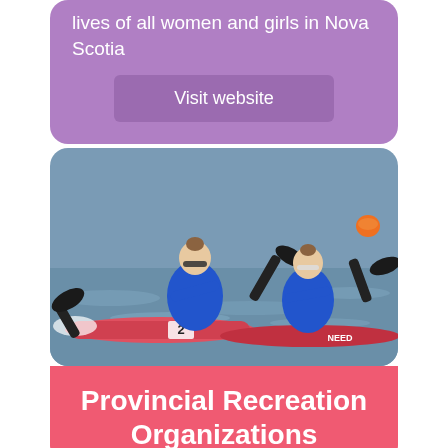lives of all women and girls in Nova Scotia
Visit website
[Figure (photo): Two women in blue athletic suits paddling kayaks competitively on water, viewed from the side, with the number 2 visible on one kayak.]
Provincial Recreation Organizations